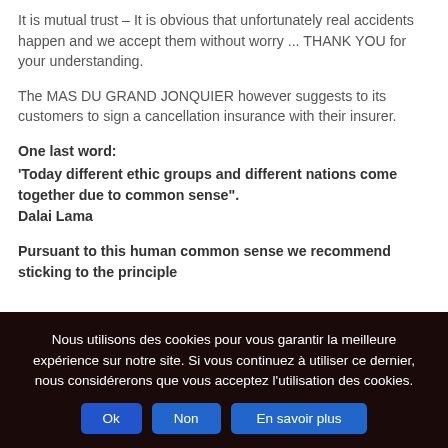It is mutual trust – It is obvious that unfortunately real accidents happen and we accept them without worry ... THANK YOU for your understanding.
The MAS DU GRAND JONQUIER however suggests to its customers to sign a cancellation insurance with their insurer.
One last word:
'Today different ethic groups and different nations come together due to common sense". Dalai Lama
Pursuant to this human common sense we recommend sticking to the principle
Nous utilisons des cookies pour vous garantir la meilleure expérience sur notre site. Si vous continuez à utiliser ce dernier, nous considérerons que vous acceptez l'utilisation des cookies.